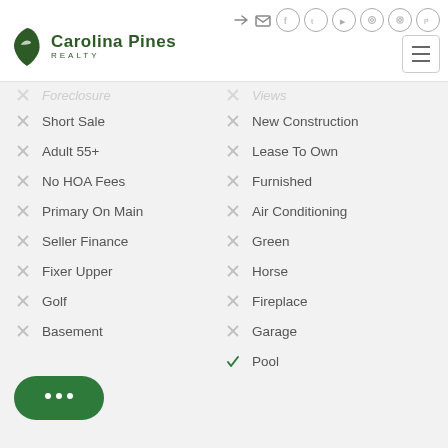Carolina Pines Realty
Foreclosure (partially visible)
Views (partially visible)
Short Sale
New Construction
Adult 55+
Lease To Own
No HOA Fees
Furnished
Primary On Main
Air Conditioning
Seller Finance
Green
Fixer Upper
Horse
Golf
Fireplace
Garage
Basement
Pool (checked)